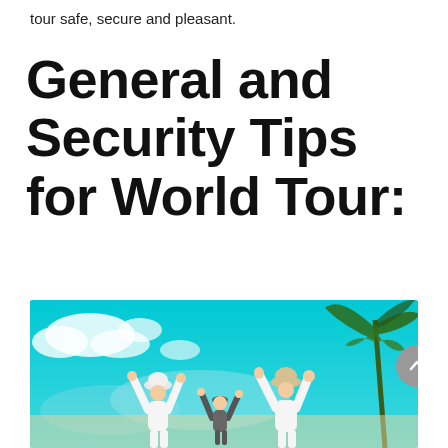tour safe, secure and pleasant.
General and Security Tips for World Tour:
[Figure (photo): Three people from behind with arms raised in celebration on a sunny beach with turquoise sky and palm trees. Two adults wearing white outfits and hats, one shorter person in the middle.]